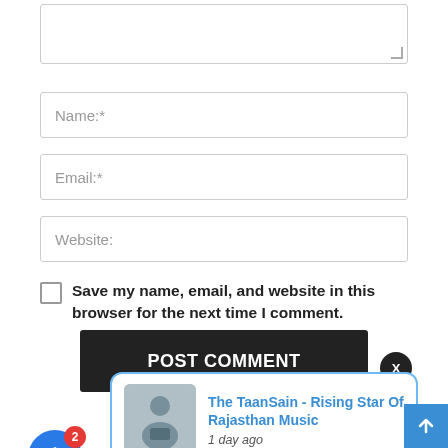[Figure (screenshot): A comment form textarea (partially visible at top)]
Name:*
Email:*
Website:
Save my name, email, and website in this browser for the next time I comment.
POST COMMENT
[Figure (screenshot): Notification popup showing article: The TaanSain - Rising Star Of Rajasthan Music, 1 day ago]
The TaanSain - Rising Star Of Rajasthan Music
1 day ago